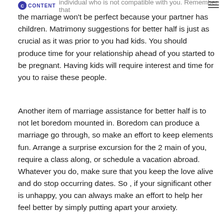CONTENT [logo] individual who is not compatible with you. Remember that
the marriage won't be perfect because your partner has children. Matrimony suggestions for better half is just as crucial as it was prior to you had kids. You should produce time for your relationship ahead of you started to be pregnant. Having kids will require interest and time for you to raise these people.
Another item of marriage assistance for better half is to not let boredom mounted in. Boredom can produce a marriage go through, so make an effort to keep elements fun. Arrange a surprise excursion for the 2 main of you, require a class along, or schedule a vacation abroad. Whatever you do, make sure that you keep the love alive and do stop occurring dates. So , if your significant other is unhappy, you can always make an effort to help her feel better by simply putting apart your anxiety.